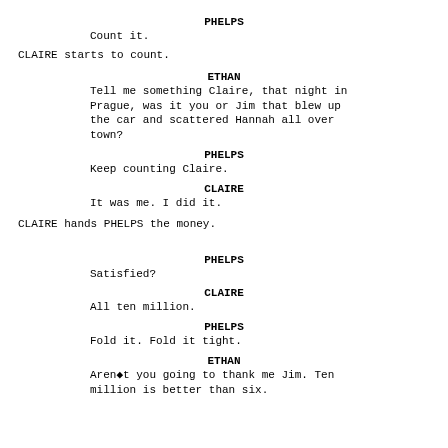PHELPS
Count it.
CLAIRE starts to count.
ETHAN
Tell me something Claire, that night in Prague, was it you or Jim that blew up the car and scattered Hannah all over town?
PHELPS
Keep counting Claire.
CLAIRE
It was me.  I did it.
CLAIRE hands PHELPS the money.
PHELPS
Satisfied?
CLAIRE
All ten million.
PHELPS
Fold it.  Fold it tight.
ETHAN
Aren◆t you going to thank me Jim.  Ten million is better than six.